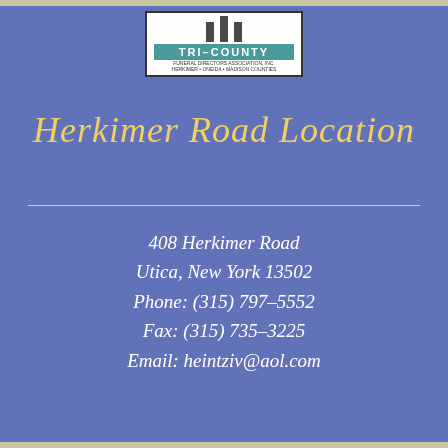[Figure (logo): Tri-County Funeral Directors Association Inc. logo with teal banner and pillars]
Herkimer Road Location
408 Herkimer Road
Utica, New York 13502
Phone: (315) 797-5552
Fax: (315) 735-3225
Email: heintziv@aol.com